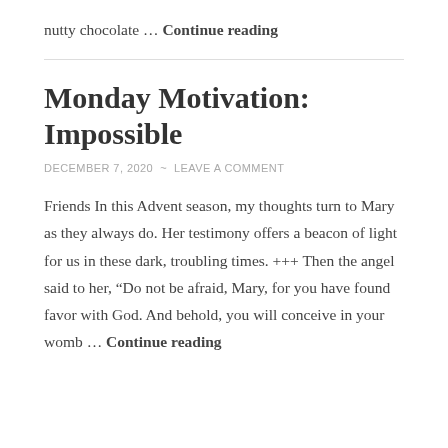nutty chocolate … Continue reading
Monday Motivation: Impossible
DECEMBER 7, 2020 ~ LEAVE A COMMENT
Friends In this Advent season, my thoughts turn to Mary as they always do. Her testimony offers a beacon of light for us in these dark, troubling times. +++ Then the angel said to her, “Do not be afraid, Mary, for you have found favor with God. And behold, you will conceive in your womb … Continue reading